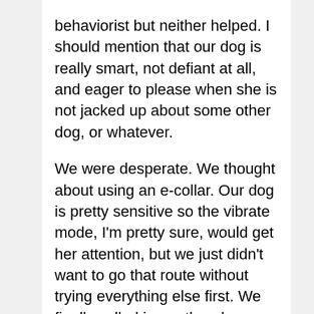behaviorist but neither helped. I should mention that our dog is really smart, not defiant at all, and eager to please when she is not jacked up about some other dog, or whatever.

We were desperate. We thought about using an e-collar. Our dog is pretty sensitive so the vibrate mode, I'm pretty sure, would get her attention, but we just didn't want to go that route without trying everything else first. We finally called in another dog trainer who specializes in difficult dogs. He did not get all mushy with our dog, and our dog was never quite at ease with